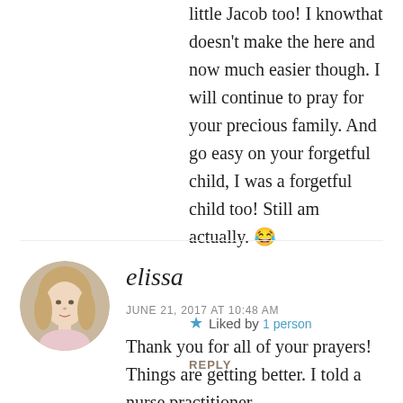little Jacob too! I knowthat doesn't make the here and now much easier though. I will continue to pray for your precious family. And go easy on your forgetful child, I was a forgetful child too! Still am actually. 😂
★ Liked by 1 person
REPLY
[Figure (photo): Circular avatar photo of a young woman with long blonde hair wearing a pink top, outdoors with green background.]
elissa
JUNE 21, 2017 AT 10:48 AM
Thank you for all of your prayers! Things are getting better. I told a nurse practitioner